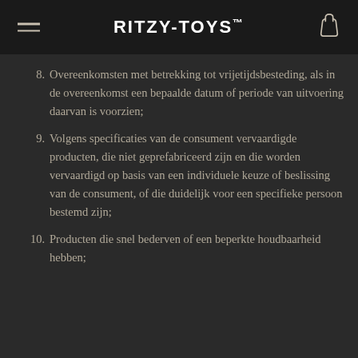RITZY-TOYS™
8. Overeenkomsten met betrekking tot vrijetijdsbesteding, als in de overeenkomst een bepaalde datum of periode van uitvoering daarvan is voorzien;
9. Volgens specificaties van de consument vervaardigde producten, die niet geprefabriceerd zijn en die worden vervaardigd op basis van een individuele keuze of beslissing van de consument, of die duidelijk voor een specifieke persoon bestemd zijn;
10. Producten die snel bederven of een beperkte houdbaarheid hebben;